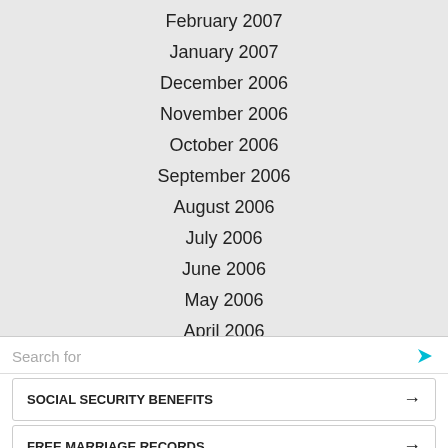February 2007
January 2007
December 2006
November 2006
October 2006
September 2006
August 2006
July 2006
June 2006
May 2006
April 2006
March 2006
Search for
SOCIAL SECURITY BENEFITS →
FREE MARRIAGE RECORDS →
Yahoo! Search | Sponsored